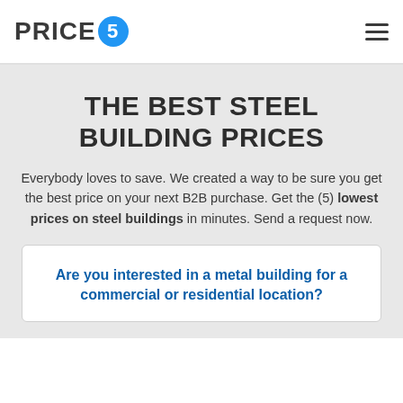PRICE5 [logo] [hamburger menu]
THE BEST STEEL BUILDING PRICES
Everybody loves to save. We created a way to be sure you get the best price on your next B2B purchase. Get the (5) lowest prices on steel buildings in minutes. Send a request now.
Are you interested in a metal building for a commercial or residential location?